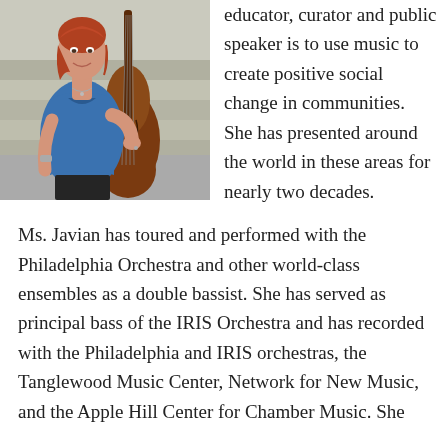[Figure (photo): A woman with red hair wearing a blue top, holding a double bass upright instrument, standing outdoors against a stone wall background.]
educator, curator and public speaker is to use music to create positive social change in communities. She has presented around the world in these areas for nearly two decades.
Ms. Javian has toured and performed with the Philadelphia Orchestra and other world-class ensembles as a double bassist. She has served as principal bass of the IRIS Orchestra and has recorded with the Philadelphia and IRIS orchestras, the Tanglewood Music Center, Network for New Music, and the Apple Hill Center for Chamber Music. She